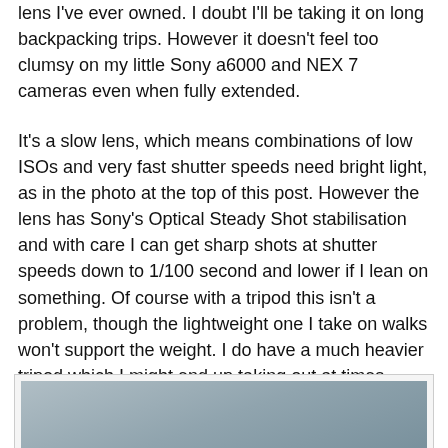lens I've ever owned. I doubt I'll be taking it on long backpacking trips. However it doesn't feel too clumsy on my little Sony a6000 and NEX 7 cameras even when fully extended.
It's a slow lens, which means combinations of low ISOs and very fast shutter speeds need bright light, as in the photo at the top of this post. However the lens has Sony's Optical Steady Shot stabilisation and with care I can get sharp shots at shutter speeds down to 1/100 second and lower if I lean on something. Of course with a tripod this isn't a problem, though the lightweight one I take on walks won't support the weight. I do have a much heavier tripod which I might end up taking out at times.
[Figure (photo): A Sand Martin bird in flight over water, photographed with Sony a6000 and Sony E 70-350mm lens at 70mm.]
Sand Martin. Sony a 6000, Sony E 70-350mm lens at 70 mm,